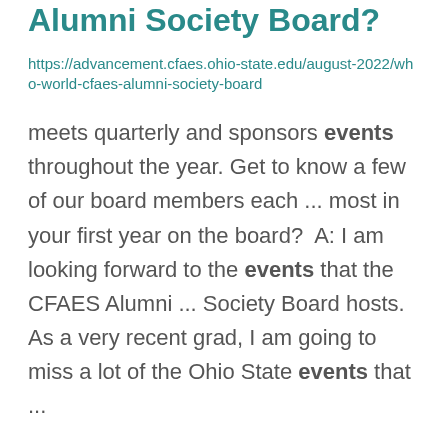Who in the world is the CFAES Alumni Society Board?
https://advancement.cfaes.ohio-state.edu/august-2022/who-world-cfaes-alumni-society-board
meets quarterly and sponsors events throughout the year. Get to know a few of our board members each ... most in your first year on the board?  A: I am looking forward to the events that the CFAES Alumni ... Society Board hosts. As a very recent grad, I am going to miss a lot of the Ohio State events that ...
OSU Leadership Center Offers August Workshops